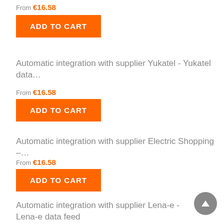From €16.58
ADD TO CART
Automatic integration with supplier Yukatel - Yukatel data…
From €16.58
ADD TO CART
Automatic integration with supplier Electric Shopping -…
From €16.58
ADD TO CART
Automatic integration with supplier Lena-e - Lena-e data feed
From €16.58
ADD TO CART